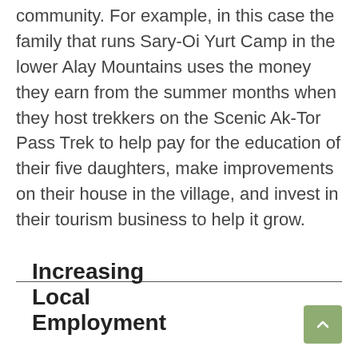community. For example, in this case the family that runs Sary-Oi Yurt Camp in the lower Alay Mountains uses the money they earn from the summer months when they host trekkers on the Scenic Ak-Tor Pass Trek to help pay for the education of their five daughters, make improvements on their house in the village, and invest in their tourism business to help it grow.
Increasing Local Employment